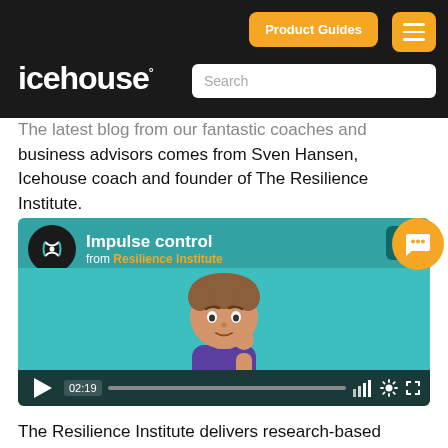icehouse | Product Guides
The latest blog from our fantastic coaches and business advisors comes from Sven Hansen, Icehouse coach and founder of The Resilience Institute.
[Figure (screenshot): Video thumbnail for 'Impulse control' from Resilience Institute, showing an animated character with teal background and video controls at the bottom showing timecode 02:19]
The Resilience Institute delivers research-based